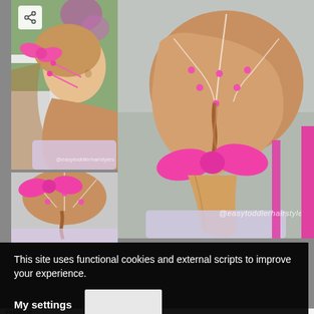[Figure (photo): Top-left small photo: side profile of young girl with braided hairstyle, pink bow hair accessories, colorful shirt, outdoor background]
[Figure (photo): Main large photo: back of young girl's head showing braided hairstyle with pink elastic bands forming a geometric pattern, large pink bow at ponytail, watermark @easytoddlerhairstyles]
[Figure (photo): Bottom-left small photo: partial view of girl's head from behind showing braid pattern with pink elastics and pink bow]
This site uses functional cookies and external scripts to improve your experience.
My settings